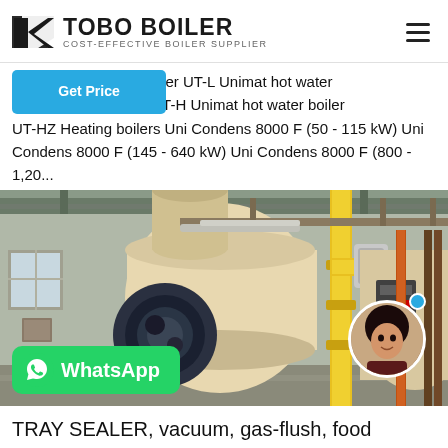[Figure (logo): TOBO BOILER logo with stylized icon and text 'COST-EFFECTIVE BOILER SUPPLIER']
ers Unimat heating boiler UT-L Unimat hot water imat hot water boiler UT-H Unimat hot water boiler UT-HZ Heating boilers Uni Condens 8000 F (50 - 115 kW) Uni Condens 8000 F (145 - 640 kW) Uni Condens 8000 F (800 - 1,20...
[Figure (photo): Industrial boiler room with large horizontal cylindrical boilers, yellow gas pipes, and machinery. A WhatsApp button overlay and a customer service avatar are visible.]
TRAY SEALER, vacuum, gas-flush, food